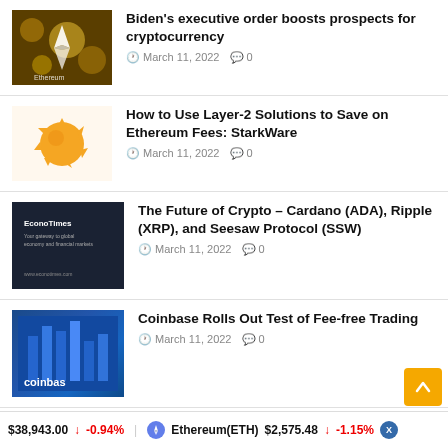Biden's executive order boosts prospects for cryptocurrency — March 11, 2022 — 0 comments
How to Use Layer-2 Solutions to Save on Ethereum Fees: StarkWare — March 11, 2022 — 0 comments
The Future of Crypto – Cardano (ADA), Ripple (XRP), and Seesaw Protocol (SSW) — March 11, 2022 — 0 comments
Coinbase Rolls Out Test of Fee-free Trading — March 11, 2022 — 0 comments
Wise Telecom signs with Sollensys to
$38,943.00 ↓ -0.94% Ethereum(ETH) $2,575.48 ↓ -1.15%